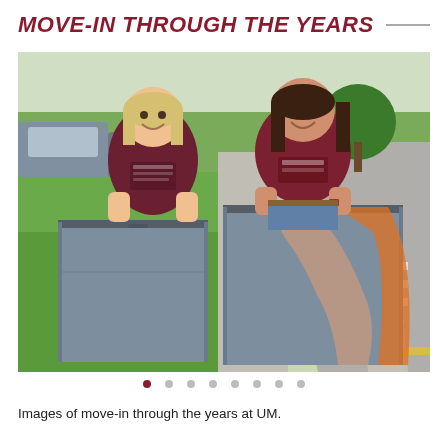MOVE-IN THROUGH THE YEARS
[Figure (photo): Two women wearing University of Montana Grizzlies and Alumni shirts, smiling and leaning on two large grey moving bins/containers on a sidewalk near a road. Green lawn and parked cars visible in background.]
Images of move-in through the years at UM.